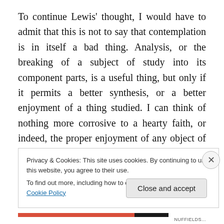To continue Lewis' thought, I would have to admit that this is not to say that contemplation is in itself a bad thing. Analysis, or the breaking of a subject of study into its component parts, is a useful thing, but only if it permits a better synthesis, or a better enjoyment of a thing studied. I can think of nothing more corrosive to a hearty faith, or indeed, the proper enjoyment of any object of study or of love, than the constant analysis or
Privacy & Cookies: This site uses cookies. By continuing to use this website, you agree to their use.
To find out more, including how to control cookies, see here: Cookie Policy
Close and accept
NUFFIELDS...